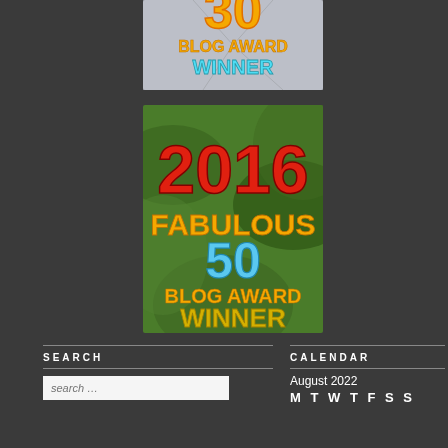[Figure (illustration): Top blog award badge: large '30' number with 'BLOG AWARD WINNER' text in orange/teal colors on shattered glass background]
[Figure (illustration): 2016 Fabulous 50 Blog Award Winner badge on green leafy background with '2016' in red, 'FABULOUS' in orange, '50' in blue, 'BLOG AWARD' in orange, 'WINNER' in gold]
SEARCH
CALENDAR
August 2022
MT WT F S S